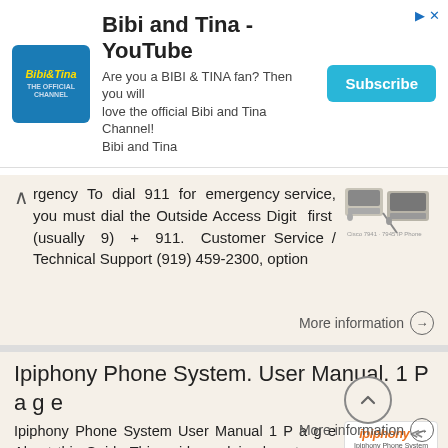[Figure (screenshot): YouTube advertisement banner for Bibi and Tina channel with logo, text and Subscribe button]
rgency  To  dial  911  for  emergency service, you must dial the Outside Access Digit  first  (usually  9)  +  911.  Customer Service / Technical Support (919) 459-2300, option
More information →
Ipiphony Phone System. User Manual. 1 P a g e
Ipiphony Phone System User Manual 1 P a g e About this Guide This guide explains how to use the basic features of your new Aastra phones. Not all features listed are available by default. Contact your
More information →